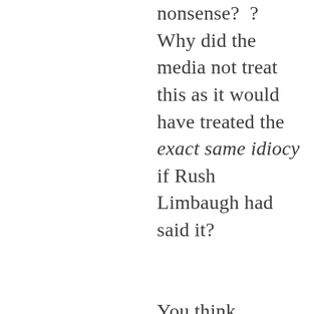nonsense? ? Why did the media not treat this as it would have treated the exact same idiocy if Rush Limbaugh had said it?

You think raising this